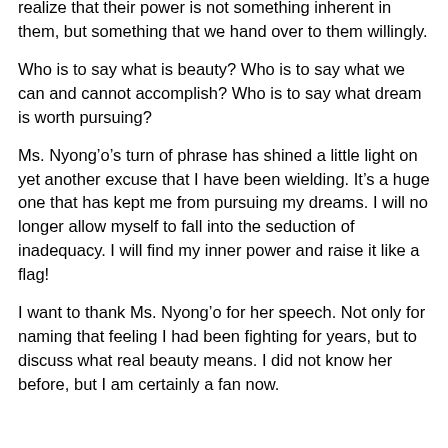realize that their power is not something inherent in them, but something that we hand over to them willingly.
Who is to say what is beauty? Who is to say what we can and cannot accomplish? Who is to say what dream is worth pursuing?
Ms. Nyong’o’s turn of phrase has shined a little light on yet another excuse that I have been wielding. It’s a huge one that has kept me from pursuing my dreams. I will no longer allow myself to fall into the seduction of inadequacy. I will find my inner power and raise it like a flag!
I want to thank Ms. Nyong’o for her speech. Not only for naming that feeling I had been fighting for years, but to discuss what real beauty means. I did not know her before, but I am certainly a fan now.